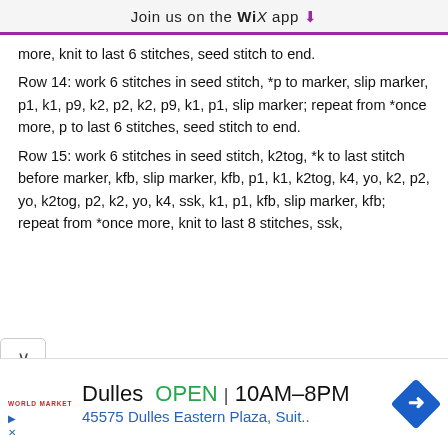Join us on the WiX app ↓
more, knit to last 6 stitches, seed stitch to end.
Row 14: work 6 stitches in seed stitch, *p to marker, slip marker, p1, k1, p9, k2, p2, k2, p9, k1, p1, slip marker; repeat from *once more, p to last 6 stitches, seed stitch to end.
Row 15: work 6 stitches in seed stitch, k2tog, *k to last stitch before marker, kfb, slip marker, kfb, p1, k1, k2tog, k4, yo, k2, p2, yo, k2tog, p2, k2, yo, k4, ssk, k1, p1, kfb, slip marker, kfb; repeat from *once more, knit to last 8 stitches, ssk,
[Figure (infographic): Advertisement banner for World Market Dulles store showing OPEN 10AM-8PM and address 45575 Dulles Eastern Plaza, Suit. with a blue navigation icon.]